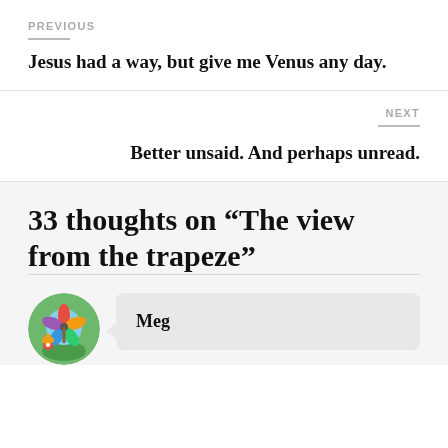PREVIOUS
Jesus had a way, but give me Venus any day.
NEXT
Better unsaid. And perhaps unread.
33 thoughts on “The view from the trapeze”
Meg